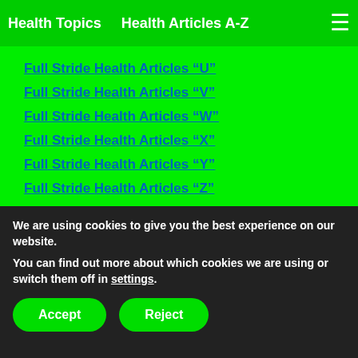Health Topics    Health Articles A-Z
Full Stride Health Articles “U”
Full Stride Health Articles “V”
Full Stride Health Articles “W”
Full Stride Health Articles “X”
Full Stride Health Articles “Y”
Full Stride Health Articles “Z”
Health Topics
Meet Our Authors At Full Stride Health
Privacy Policy
We are using cookies to give you the best experience on our website.
You can find out more about which cookies we are using or switch them off in settings.
Accept  Reject